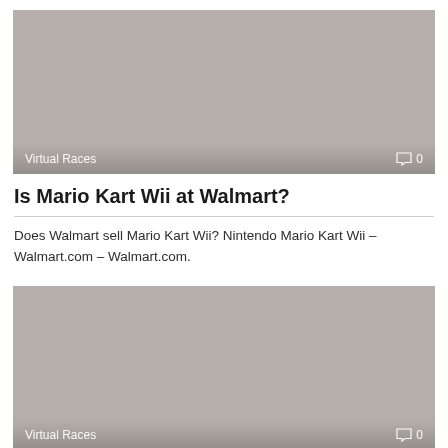[Figure (photo): Gray placeholder image with 'Virtual Races' label and comment count '0' in bottom corners]
Is Mario Kart Wii at Walmart?
Does Walmart sell Mario Kart Wii? Nintendo Mario Kart Wii – Walmart.com – Walmart.com.
[Figure (photo): Gray placeholder image with 'Virtual Races' label and comment count '0' in bottom corners]
Frequent question: Who broke the